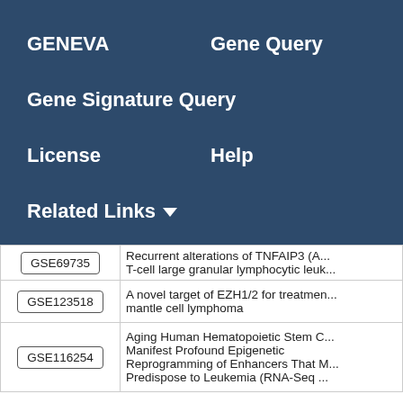GENEVA   Gene Query
Gene Signature Query
License   Help
Related Links ▼
| GSE ID | Description |
| --- | --- |
| GSE69735 | Recurrent alterations of TNFAIP3 (A... T-cell large granular lymphocytic leuk... |
| GSE123518 | A novel target of EZH1/2 for treatment... mantle cell lymphoma |
| GSE116254 | Aging Human Hematopoietic Stem C... Manifest Profound Epigenetic Reprogramming of Enhancers That M... Predispose to Leukemia (RNA-Seq ... |